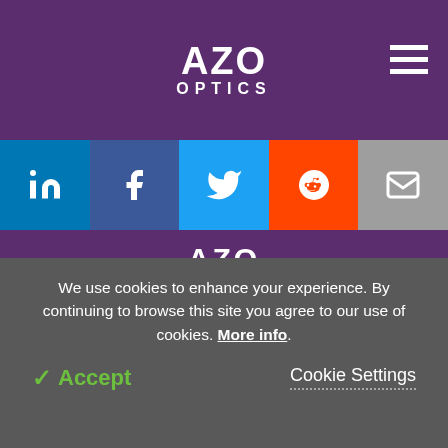AZO OPTICS
[Figure (infographic): Social media sharing bar with LinkedIn, Facebook, Twitter, Reddit, and Email icons in colored squares]
[Figure (logo): AZO Optics logo with white text on purple background]
[Figure (infographic): Three circular social media icons: LinkedIn, Facebook, Twitter on purple background]
[Figure (other): TRUSTe Certified Privacy badge powered by TrustArc]
We use cookies to enhance your experience. By continuing to browse this site you agree to our use of cookies. More info.
✓ Accept
Cookie Settings